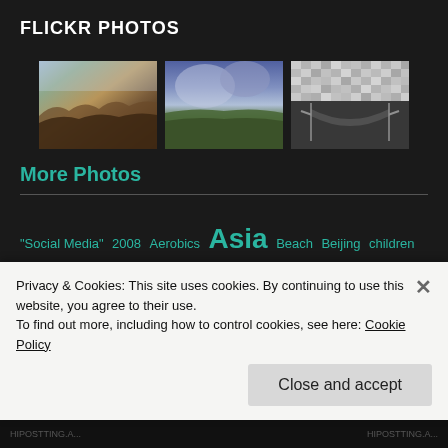FLICKR PHOTOS
[Figure (photo): Three Flickr photo thumbnails: a canyon landscape, a stormy sky over water, and a black-and-white photo of a hammock]
More Photos
"Social Media" 2008 Aerobics Asia Beach Beijing children China consumers corporate Cracker Design Diwali dress DSLR Dubai Emirates exercise Festival fitness girl Goa health Himachal Pradesh hobby Holiday image
Privacy & Cookies: This site uses cookies. By continuing to use this website, you agree to their use.
To find out more, including how to control cookies, see here: Cookie Policy
Close and accept